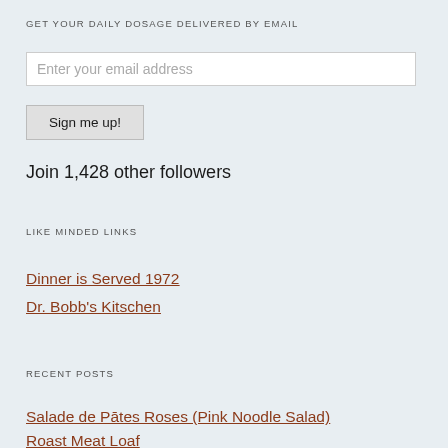GET YOUR DAILY DOSAGE DELIVERED BY EMAIL
Enter your email address
Sign me up!
Join 1,428 other followers
LIKE MINDED LINKS
Dinner is Served 1972
Dr. Bobb's Kitschen
RECENT POSTS
Salade de Pātes Roses (Pink Noodle Salad)
Roast Meat Loaf